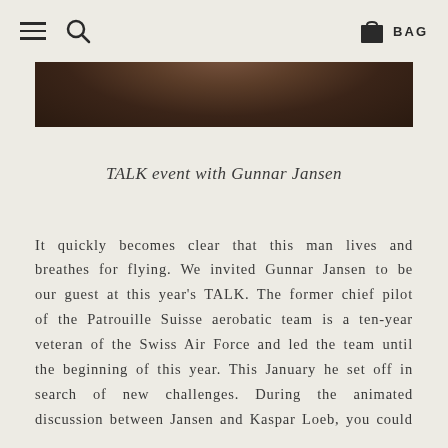≡  🔍  BAG
[Figure (photo): Dark photograph showing a partial view of a person or scene, cropped at the top, with warm brown and dark tones.]
TALK event with Gunnar Jansen
It quickly becomes clear that this man lives and breathes for flying. We invited Gunnar Jansen to be our guest at this year's TALK. The former chief pilot of the Patrouille Suisse aerobatic team is a ten-year veteran of the Swiss Air Force and led the team until the beginning of this year. This January he set off in search of new challenges. During the animated discussion between Jansen and Kaspar Loeb, you could